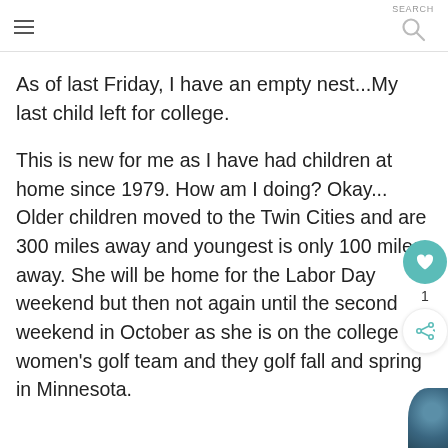SEARCH
As of last Friday, I have an empty nest...My last child left for college.
This is new for me as I have had children at home since 1979. How am I doing? Okay... Older children moved to the Twin Cities and are 300 miles away and youngest is only 100 miles away. She will be home for the Labor Day weekend but then not again until the second weekend in October as she is on the college women's golf team and they golf fall and spring in Minnesota.